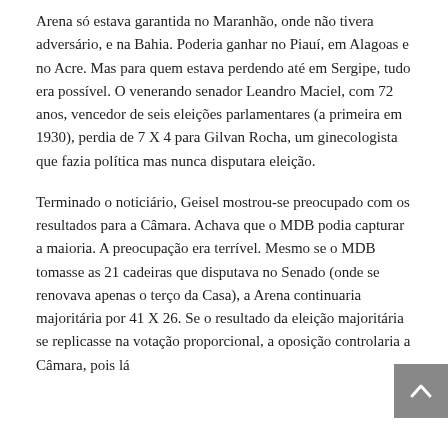Arena só estava garantida no Maranhão, onde não tivera adversário, e na Bahia. Poderia ganhar no Piauí, em Alagoas e no Acre. Mas para quem estava perdendo até em Sergipe, tudo era possível. O venerando senador Leandro Maciel, com 72 anos, vencedor de seis eleições parlamentares (a primeira em 1930), perdia de 7 X 4 para Gilvan Rocha, um ginecologista que fazia política mas nunca disputara eleição.
Terminado o noticiário, Geisel mostrou-se preocupado com os resultados para a Câmara. Achava que o MDB podia capturar a maioria. A preocupação era terrível. Mesmo se o MDB tomasse as 21 cadeiras que disputava no Senado (onde se renovava apenas o terço da Casa), a Arena continuaria majoritária por 41 X 26. Se o resultado da eleição majoritária se replicasse na votação proporcional, a oposição controlaria a Câmara, pois lá